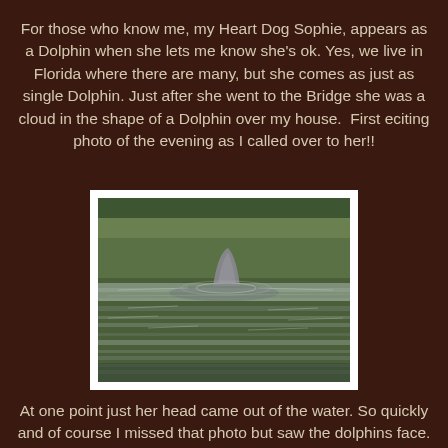For those who know me, my Heart Dog Sophie, appears as a Dolphin when she lets me know she's ok. Yes, we live in Florida where there are many, but she comes as just as single Dolphin. Just after she went to the Bridge she was a cloud in the shape of a Dolphin over my house.  First eciting photo of the evening as I called over to her!!
[Figure (photo): A dolphin fin visible above rippling water surface with green reflections in the background.]
At one point just her head came out of the water. So quickly and of course I missed that photo but saw the dolphins face.